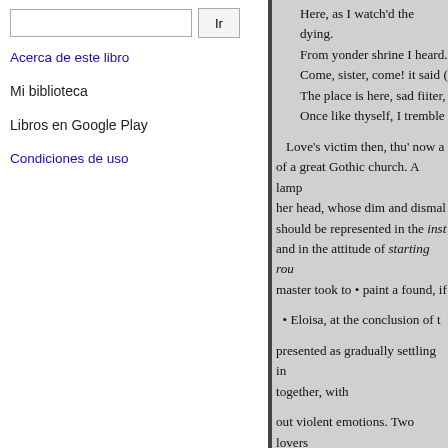[search box] Ir
Acerca de este libro
Mi biblioteca
Libros en Google Play
Condiciones de uso
Here, as I watch'd the dying. From yonder shrine I heard. Come, sister, come! it said. The place is here, sad fiiter,. Once like thyself, I tremble. Love's victim then, thu' now a of a great Gothic church. A lamp her head, whose dim and dismal should be represented in the insta and in the attitude of starting rou master took to • paint a found, if • Eloisa, at the conclusion of t presented as gradually settling in together, with but violent emotions. Two lovers finely imagined.' From the full choir, when lo And I'vell the pomp of drea Amid that scene, if some re Glance on the stone where c Devotion's self shall steal